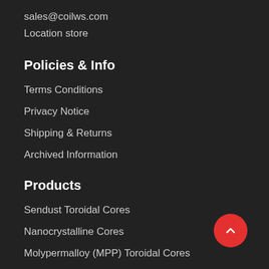sales@coilws.com
Location store
Policies & Info
Terms Conditions
Privacy Notice
Shipping & Returns
Archived Information
Products
Sendust Toroidal Cores
Nanocrystalline Cores
Molypermalloy (MPP) Toroidal Cores
Mega Flux Cores